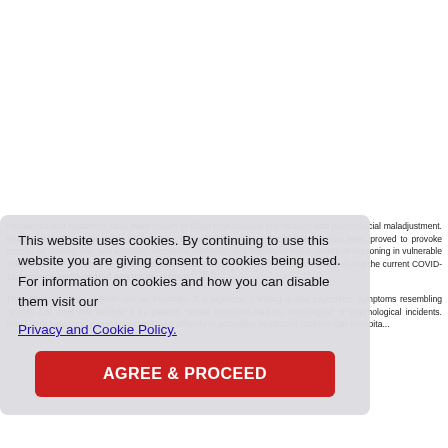[Figure (screenshot): Cookie consent overlay panel with text and AGREE & PROCEED button over a medical article page]
Pandemics and epidemics have been known to affect psychosocial interactions and psychosocial maladjustment. People tend to be susceptible to cognitive, emotional alterations. Social isolation has been proved to provoke increased anxiety, fear and irritability, emotional instability, and inability to make coherent reasoning in vulnerable individuals. A recent study reported increased incidence of FMDs in children and adults during the current COVID-19 pandemic and increased psychological stress.[13][14]
The effects of social isolation can be traumatic. The significant finding is that psychiatric symptoms resembling neurological ones are exhibited by patients whose lockdown had no neurological or psychological incidents. Insufficient food supply, unemployment, and difficulty in accessing healthcare facilities can precipitate...